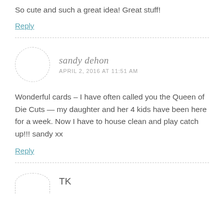So cute and such a great idea! Great stuff!
Reply
sandy dehon
APRIL 2, 2016 AT 11:51 AM
Wonderful cards – I have often called you the Queen of Die Cuts — my daughter and her 4 kids have been here for a week. Now I have to house clean and play catch up!!! sandy xx
Reply
TK